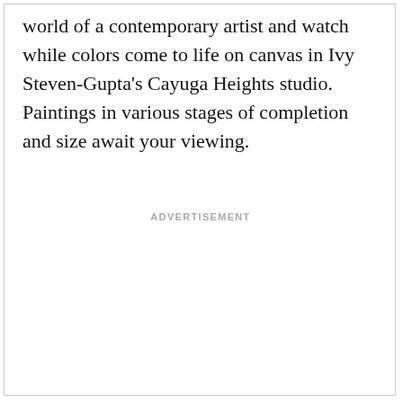world of a contemporary artist and watch while colors come to life on canvas in Ivy Steven-Gupta's Cayuga Heights studio. Paintings in various stages of completion and size await your viewing.
ADVERTISEMENT